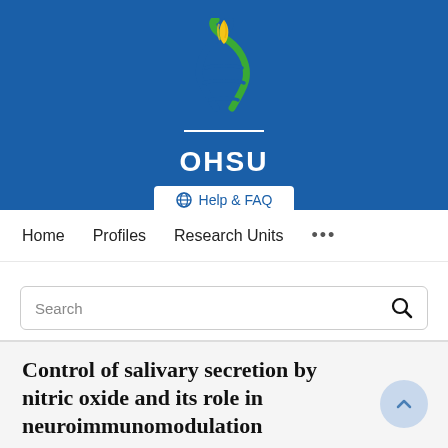[Figure (logo): OHSU (Oregon Health & Science University) logo with DNA helix and flame motif in blue, green, and gold/yellow colors, with 'OHSU' text in white on blue background]
[Figure (screenshot): Help & FAQ button with globe icon]
Home   Profiles   Research Units   ...
Search
Control of salivary secretion by nitric oxide and its role in neuroimmunomodulation